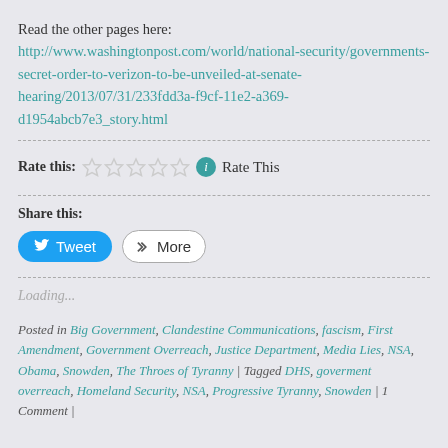Read the other pages here:  http://www.washingtonpost.com/world/national-security/governments-secret-order-to-verizon-to-be-unveiled-at-senate-hearing/2013/07/31/233fdd3a-f9cf-11e2-a369-d1954abcb7e3_story.html
Rate this: [stars] (i) Rate This
Share this:
Tweet   More
Loading...
Posted in Big Government, Clandestine Communications, fascism, First Amendment, Government Overreach, Justice Department, Media Lies, NSA, Obama, Snowden, The Throes of Tyranny | Tagged DHS, goverment overreach, Homeland Security, NSA, Progressive Tyranny, Snowden | 1 Comment |